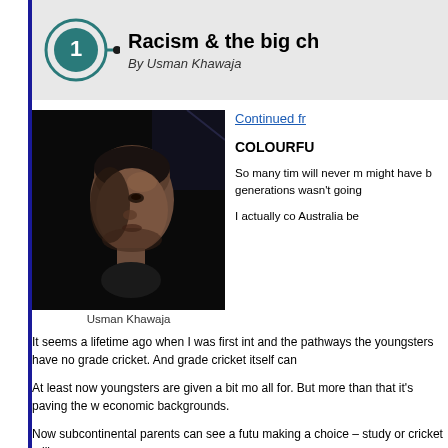Racism & the big ch
By Usman Khawaja
Continued fr
COLOURFU
So many tim will never m might have b generations wasn't going
[Figure (photo): Portrait photo of Usman Khawaja, a man shown in dramatic dark lighting, looking upward and to the right]
Usman Khawaja
I actually co Australia be
It seems a lifetime ago when I was first int and the pathways the youngsters have no grade cricket. And grade cricket itself can
At least now youngsters are given a bit mo all for. But more than that it's paving the w economic backgrounds.
Now subcontinental parents can see a futu making a choice – study or cricket – like m